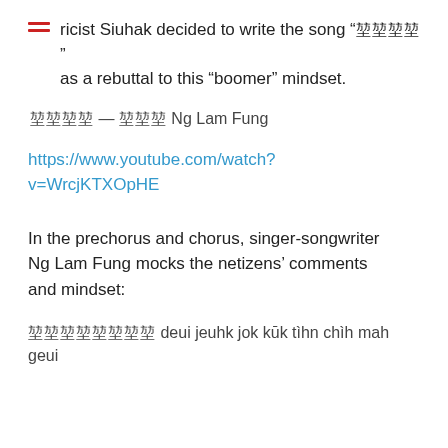ricist Siuhak decided to write the song "囧囧囧囧" as a rebuttal to this "boomer" mindset.
囧囧囧囧 — 囧囧囧 Ng Lam Fung
https://www.youtube.com/watch?v=WrcjKTXOpHE
In the prechorus and chorus, singer-songwriter Ng Lam Fung mocks the netizens' comments and mindset:
囧囧囧囧囧囧囧囧 deui jeuhk jok kūk tìhn chìh mah geui